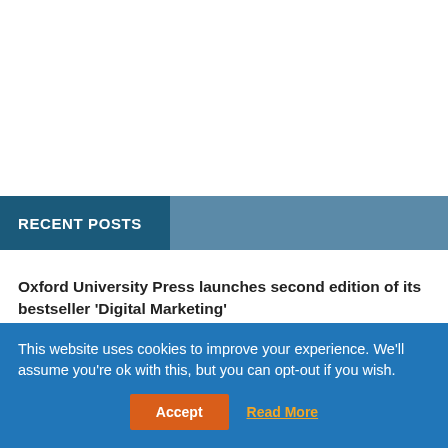RECENT POSTS
Oxford University Press launches second edition of its bestseller 'Digital Marketing'
Why is Print Advertising Still Relevant in this Era of Digital Marketing?
This website uses cookies to improve your experience. We'll assume you're ok with this, but you can opt-out if you wish.
Accept | Read More